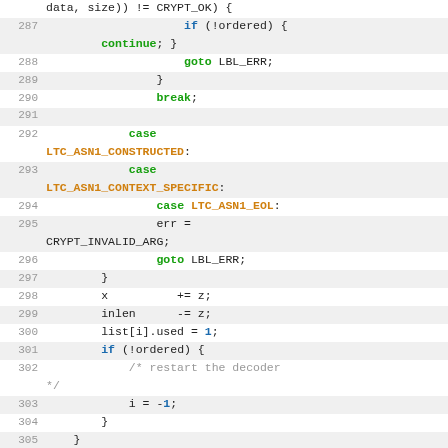Source code listing lines 287-308, C code for ASN1 decoder
[Figure (screenshot): C source code snippet showing lines 287-308 of an ASN.1 decoder implementation, with syntax highlighting. Keywords in blue/green, constants in orange, comments in gray.]